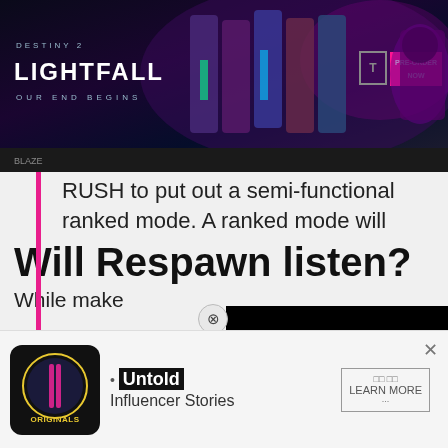[Figure (screenshot): Destiny 2 Lightfall game advertisement banner with dark background, colored character art, PRE-ORDER NOW button in pink, and ESRB rating box]
RUSH to put out a semi-functional ranked mode. A ranked mode will keep a lot of players playing the game until actual content is released.
People want tons of content and i doubt Respawn has it ready, a ranked will make sure people don't quit when waiting.
— fast mendo (@Men…
Will Respawn listen?
While…                                          make
[Figure (screenshot): Black video player overlay in bottom right]
[Figure (screenshot): Bottom advertisement for Untold: Influencer Stories with Originals logo, Learn More button, and X close button]